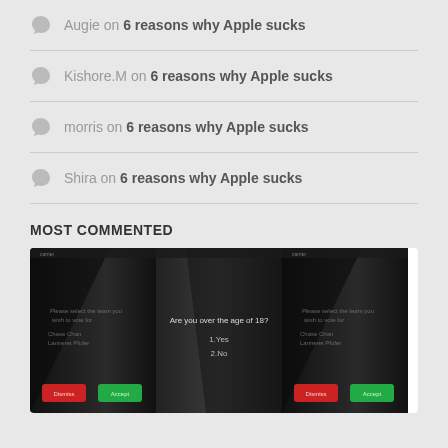Augie on 6 reasons why Apple sucks
Kishore.M on 6 reasons why Apple sucks
morris on 6 reasons why Apple sucks
Shira on 6 reasons why Apple sucks
MOST COMMENTED
[Figure (screenshot): Three smartphone screens showing voting/age verification app interfaces with red and green buttons at the bottom. The center screen shows text: Are you over the age of 18? 1.Yes 2.No]